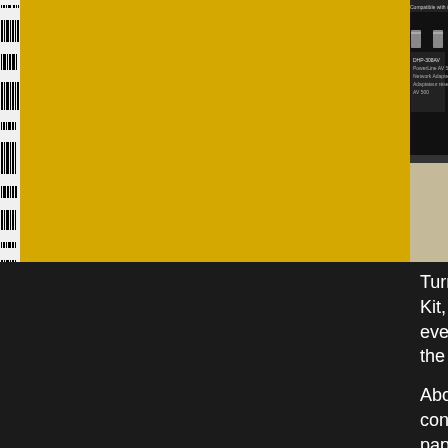[Figure (photo): Photo of D-Link DHP-308AV PowerLine AV 500 Network Adapter box showing product label with text 'Compatible with / Compatible', 'DHP-308AV', 'PowerLine AV 500', 'Network Adapter / Adaptateur réseau CPL', 'AV 500']
Turning it over reveals more detailed information about the Starter Kit, what it's meant for, how it works, and if you should ever in the future need to extend your network, shows the products and variations available.
About the only negative about the packaging is that, considering the size of the Powerline adapters, they wasted paper they used on the package in half.
The contents of the D-Link DHP-309AV
2 PowerLine 500AV Adapters (DH
2 Ethernet Cables
Quick Install Guide
Powerline networking products don't come with a Powerline adapter and the possibly superior since set up should be as simple as connection want the connection to be made. The